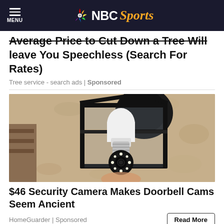MENU | NBC Sports
Average Price to Cut Down a Tree Will leave You Speechless (Search For Rates)
Tree service - search ads | Sponsored
[Figure (photo): A security camera shaped like a light bulb mounted in a black outdoor lantern fixture against a textured beige/tan stucco wall. The camera/bulb has LED lights around its lens at the bottom.]
$46 Security Camera Makes Doorbell Cams Seem Ancient
HomeGuarder | Sponsored